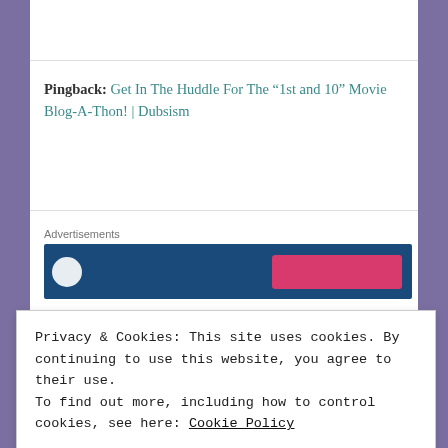Pingback: Get In The Huddle For The “1st and 10” Movie Blog-A-Thon! | Dubsism
[Figure (other): Advertisement banner with dark blue background, circular logo element on left, and pink/red button on right]
CARYGRANTWONTEATYOU
Privacy & Cookies: This site uses cookies. By continuing to use this website, you agree to their use.
To find out more, including how to control cookies, see here: Cookie Policy
Close and accept